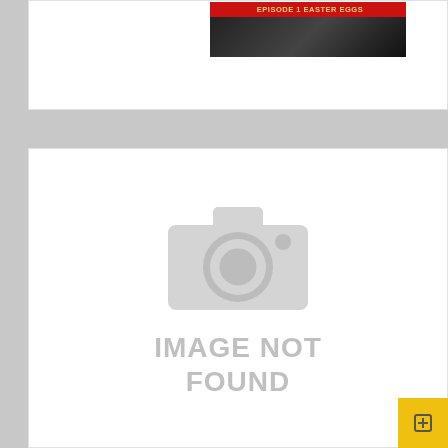[Figure (screenshot): Thumbnail image with red banner reading EPISODE 1 EASTER EGGS over a dark background]
[Figure (photo): Image not found placeholder showing a camera icon and the text IMAGE NOT FOUND in grey]